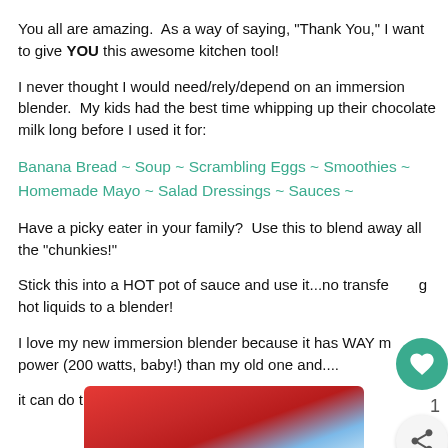You all are amazing.  As a way of saying, "Thank You," I want to give YOU this awesome kitchen tool!
I never thought I would need/rely/depend on an immersion blender.  My kids had the best time whipping up their chocolate milk long before I used it for:
Banana Bread ~ Soup ~ Scrambling Eggs ~ Smoothies ~ Homemade Mayo ~ Salad Dressings ~ Sauces ~
Have a picky eater in your family?  Use this to blend away all the "chunkies!"
Stick this into a HOT pot of sauce and use it...no transferring hot liquids to a blender!
I love my new immersion blender because it has WAY more power (200 watts, baby!) than my old one and....
it can do this:
[Figure (photo): Partial photo of a red immersion blender at the bottom of the page]